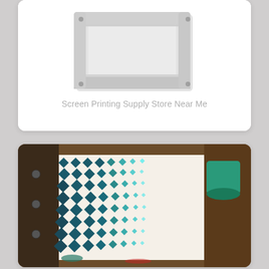[Figure (photo): A silver/grey aluminum screen printing frame with white mesh, photographed on white background]
Screen Printing Supply Store Near Me
[Figure (photo): A screen printing setup showing a screen with a geometric diamond/halftone pattern in dark teal and light teal/turquoise on a white mesh, placed on a printing press bed with paint residue visible]